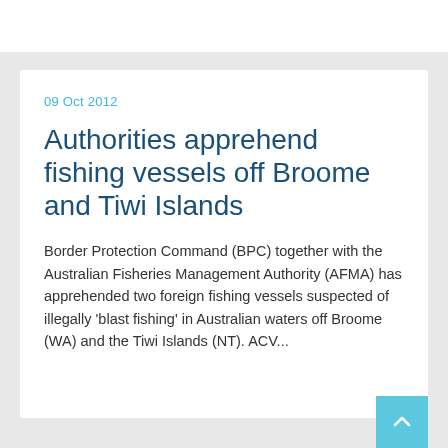09 Oct 2012
Authorities apprehend fishing vessels off Broome and Tiwi Islands
Border Protection Command (BPC) together with the Australian Fisheries Management Authority (AFMA) has apprehended two foreign fishing vessels suspected of illegally 'blast fishing' in Australian waters off Broome (WA) and the Tiwi Islands (NT). ACV...